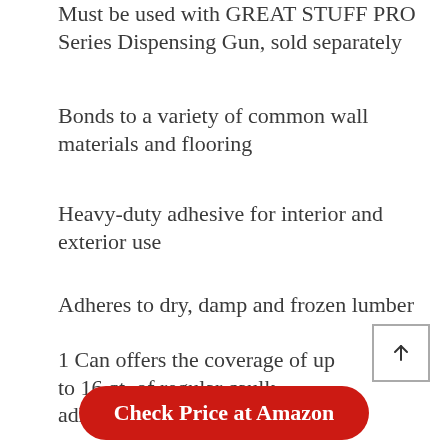Must be used with GREAT STUFF PRO Series Dispensing Gun, sold separately
Bonds to a variety of common wall materials and flooring
Heavy-duty adhesive for interior and exterior use
Adheres to dry, damp and frozen lumber
1 Can offers the coverage of up to 16 qt. of regular caulk adhesive
[Figure (other): Scroll-to-top button with upward arrow icon]
Check Price at Amazon